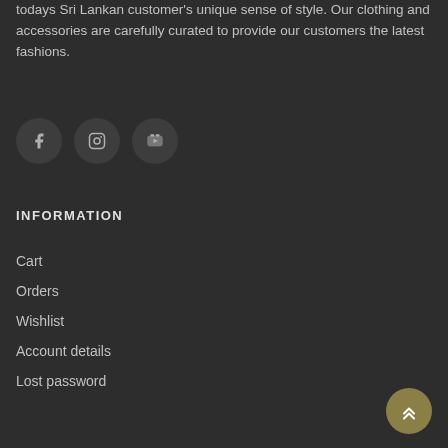todays Sri Lankan customer's unique sense of style. Our clothing and accessories are carefully curated to provide our customers the latest fashions.
[Figure (other): Social media icons: Facebook, Instagram, YouTube]
INFORMATION
Cart
Orders
Wishlist
Account details
Lost password